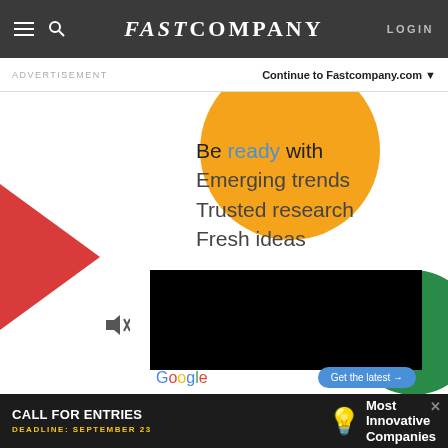FAST COMPANY — LOGIN
ADVERTISEMENT
Continue to Fastcompany.com ▼
[Figure (infographic): Google advertisement with geometric shapes (yellow circle, red triangle, green circle), text reading 'Be ready with Emerging trends Trusted research Fresh ideas', a black video player area, a mute icon, Google logo, and 'Get the latest →' CTA button]
[Figure (infographic): Bottom advertisement banner: CALL FOR ENTRIES, DEADLINE: SEPTEMBER 23, lightbulb icon, Most Innovative Companies]